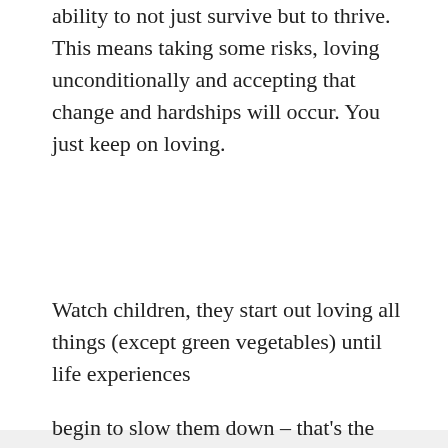ability to not just survive but to thrive. This means taking some risks, loving unconditionally and accepting that change and hardships will occur. You just keep on loving.
Watch children, they start out loving all things (except green vegetables) until life experiences
[Figure (illustration): A 3D illustration of two red heart shapes with a white and green life preserver ring wrapped around them, suggesting love and lifesaving.]
begin to slow them down – that's the muddying l